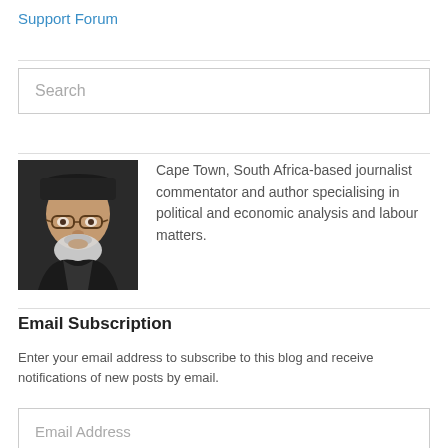Support Forum
[Figure (photo): Portrait photo of an older man with white beard and glasses wearing a dark hat and jacket]
Cape Town, South Africa-based journalist commentator and author specialising in political and economic analysis and labour matters.
Email Subscription
Enter your email address to subscribe to this blog and receive notifications of new posts by email.
Email Address